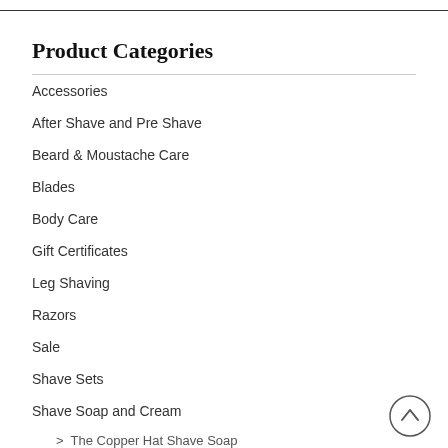Product Categories
Accessories
After Shave and Pre Shave
Beard & Moustache Care
Blades
Body Care
Gift Certificates
Leg Shaving
Razors
Sale
Shave Sets
Shave Soap and Cream
> The Copper Hat Shave Soap